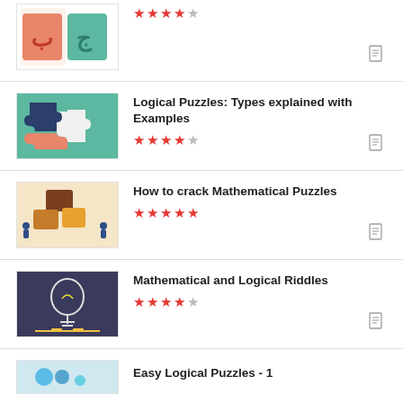(partial item at top — puzzle pieces thumbnail, 4.5 stars)
Logical Puzzles: Types explained with Examples — 4.5 stars
How to crack Mathematical Puzzles — 5 stars
Mathematical and Logical Riddles — 4.5 stars
Easy Logical Puzzles - 1 (partial)